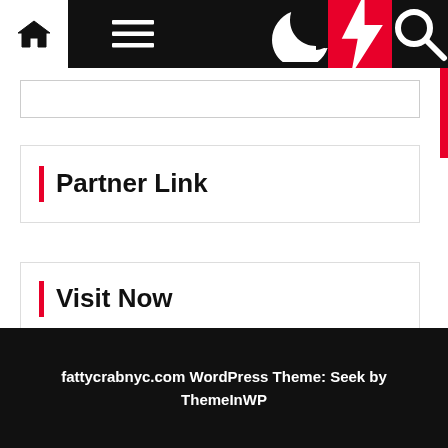[Figure (screenshot): Website navigation bar with home icon, hamburger menu, moon icon, lightning bolt (red background), and search icon on dark background]
Partner Link
Visit Now
Technnology
fattycrabnyc.com WordPress Theme: Seek by ThemeInWP